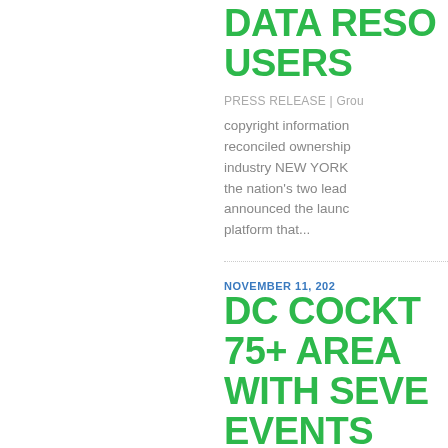DATA RESO... USERS
PRESS RELEASE | Grou... copyright information... reconciled ownership... industry NEW YORK... the nation's two lead... announced the launc... platform that...
NOVEMBER 11, 202...
DC COCKT... 75+ AREA ... WITH SEVE... EVENTS